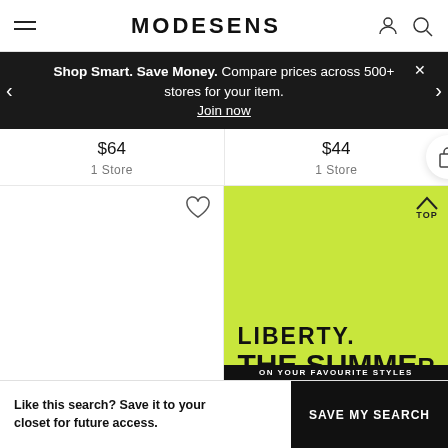MODESENS
Shop Smart. Save Money. Compare prices across 500+ stores for your item. Join now
$64  1 Store
$44  1 Store
[Figure (screenshot): White product image area with heart icon, and lime green Liberty summer store advertisement panel on right]
Like this search? Save it to your closet for future access.
SAVE MY SEARCH